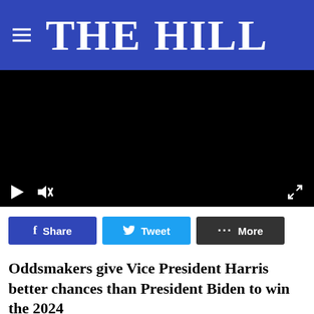THE HILL
[Figure (screenshot): Black video player with play button and mute button controls at bottom left, fullscreen icon at bottom right]
Share  Tweet  More
Oddsmakers give Vice President Harris better chances than President Biden to win the 2024 Democratic presidential nomination and general election, according to online betting markets.
[Figure (photo): Advertisement overlay showing two people talking outdoors with text: If you're noticing changes, it could be Alzheimer's. Visit a doctor together.]